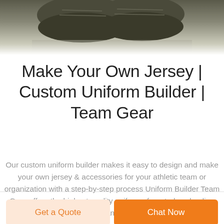[Figure (photo): Partial view of dark athletic shoes/cleats photographed from above against a white background]
Make Your Own Jersey | Custom Uniform Builder | Team Gear
Our custom uniform builder makes it easy to design and make your own jersey & accessories for your athletic team or organization with a step-by-step process Uniform Builder Team Gear offers the highest quality uniforms from todays leading brands.
Get a Quote
Chat Now